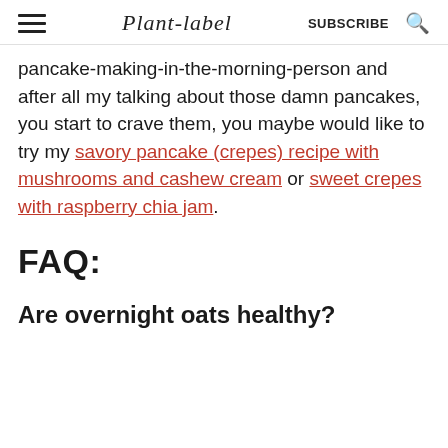Plant-label | SUBSCRIBE
pancake-making-in-the-morning-person and after all my talking about those damn pancakes, you start to crave them, you maybe would like to try my savory pancake (crepes) recipe with mushrooms and cashew cream or sweet crepes with raspberry chia jam.
FAQ:
Are overnight oats healthy?